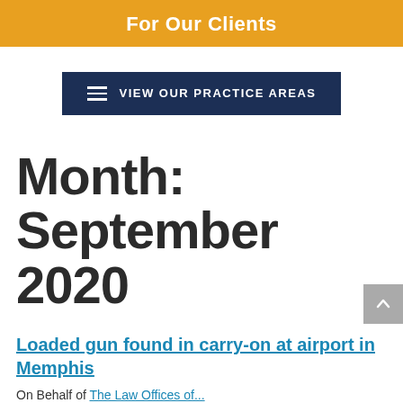For Our Clients
[Figure (other): Dark navy button with hamburger menu icon and text 'VIEW OUR PRACTICE AREAS']
Month: September 2020
Loaded gun found in carry-on at airport in Memphis
On Behalf of The Law Offices of...